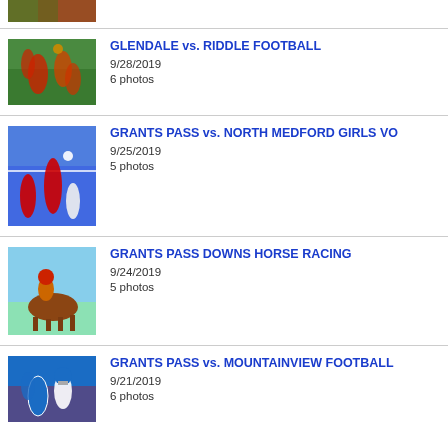[Figure (photo): Partial view of a sports photo at top of page]
GLENDALE vs. RIDDLE FOOTBALL
9/28/2019
6 photos
GRANTS PASS vs. NORTH MEDFORD GIRLS VO...
9/25/2019
5 photos
GRANTS PASS DOWNS HORSE RACING
9/24/2019
5 photos
GRANTS PASS vs. MOUNTAINVIEW FOOTBALL
9/21/2019
6 photos